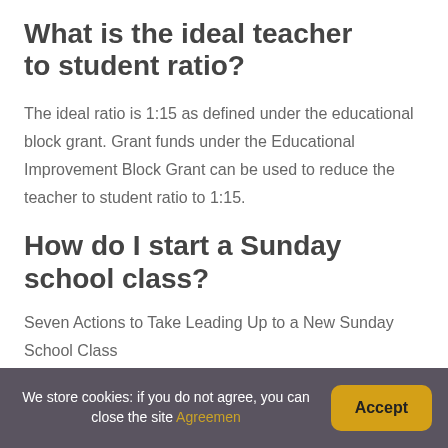What is the ideal teacher to student ratio?
The ideal ratio is 1:15 as defined under the educational block grant. Grant funds under the Educational Improvement Block Grant can be used to reduce the teacher to student ratio to 1:15.
How do I start a Sunday school class?
Seven Actions to Take Leading Up to a New Sunday School Class
We store cookies: if you do not agree, you can close the site Agreemen  Accept